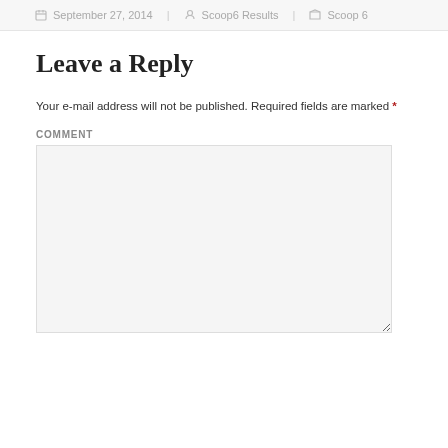September 27, 2014  Scoop6 Results  Scoop 6
Leave a Reply
Your e-mail address will not be published. Required fields are marked *
COMMENT